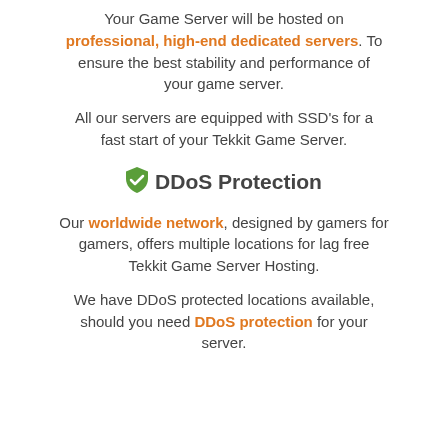Your Game Server will be hosted on professional, high-end dedicated servers. To ensure the best stability and performance of your game server.
All our servers are equipped with SSD's for a fast start of your Tekkit Game Server.
DDoS Protection
Our worldwide network, designed by gamers for gamers, offers multiple locations for lag free Tekkit Game Server Hosting.
We have DDoS protected locations available, should you need DDoS protection for your server.